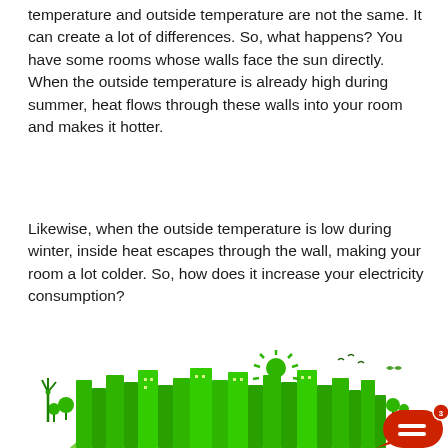temperature and outside temperature are not the same. It can create a lot of differences. So, what happens? You have some rooms whose walls face the sun directly. When the outside temperature is already high during summer, heat flows through these walls into your room and makes it hotter.
Likewise, when the outside temperature is low during winter, inside heat escapes through the wall, making your room a lot colder. So, how does it increase your electricity consumption?
[Figure (illustration): Green eco city globe illustration with green buildings, trees, wind turbines, birds, and a green sun on a white globe, with a red chat bubble icon with number 3 in the bottom right corner.]